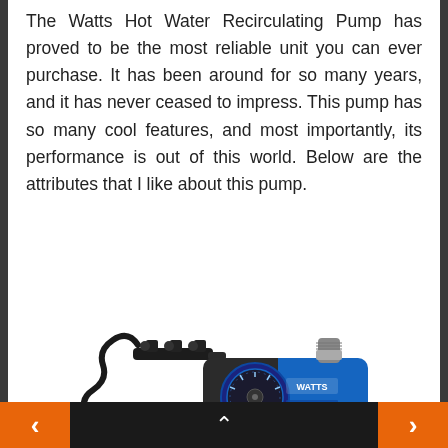The Watts Hot Water Recirculating Pump has proved to be the most reliable unit you can ever purchase. It has been around for so many years, and it has never ceased to impress. This pump has so many cool features, and most importantly, its performance is out of this world. Below are the attributes that I like about this pump.
[Figure (photo): Photo of Watts Hot Water Recirculating Pump — a black and blue pump unit with a circular timer dial, a black pipe fitting/manifold to the left, and a power cord, with the Watts brand logo visible on the blue housing.]